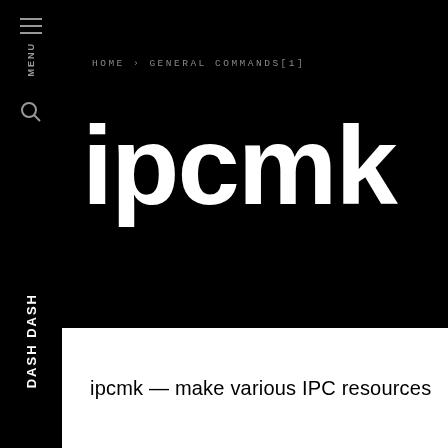MENU
HOME › GENERAL COMMANDS[1]
ipcmk
ipcmk — make various IPC resources